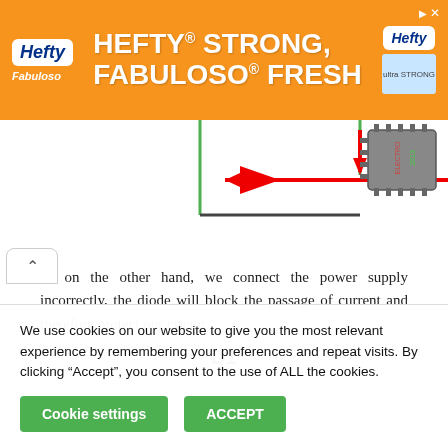[Figure (other): Hefty brand advertisement banner with orange background, showing Hefty and Fabuloso logos and text 'HEFTY STRONG, FABULOSO FRESH']
[Figure (engineering-diagram): Partial circuit diagram showing a horizontal wire with a red arrow pointing left and a downward red arrow, with a microchip component (IC) in the upper right corner. Green vertical lines and a rectangular wire loop visible.]
If, on the other hand, we connect the power supply incorrectly, the diode will block the passage of current and therefore protect our circuit.
D1
We use cookies on our website to give you the most relevant experience by remembering your preferences and repeat visits. By clicking “Accept”, you consent to the use of ALL the cookies.